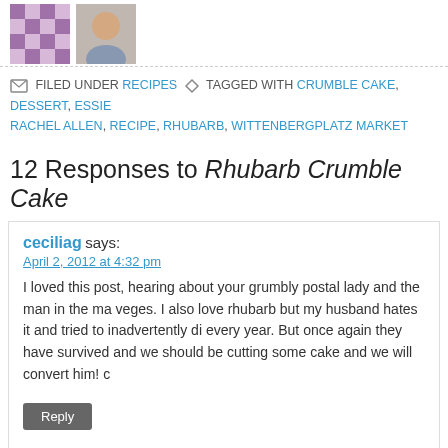[Figure (photo): Two avatar images side by side: a mosaic/pattern avatar and a photo of a person]
FILED UNDER RECIPES TAGGED WITH CRUMBLE CAKE, DESSERT, ESSIE, RACHEL ALLEN, RECIPE, RHUBARB, WITTENBERGPLATZ MARKET
12 Responses to Rhubarb Crumble Cake
ceciliag says: April 2, 2012 at 4:32 pm
I loved this post, hearing about your grumbly postal lady and the man in the ma veges. I also love rhubarb but my husband hates it and tried to inadvertently di every year. But once again they have survived and we should be cutting some cake and we will convert him! c
Reply
foodieinberlin says: April 3, 2012 at 1:22 pm
I think rhubarb can be a bit full on, especially served compote style and sp